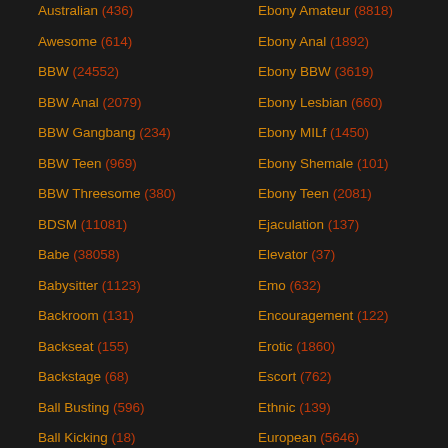Australian (436)
Awesome (614)
BBW (24552)
BBW Anal (2079)
BBW Gangbang (234)
BBW Teen (969)
BBW Threesome (380)
BDSM (11081)
Babe (38058)
Babysitter (1123)
Backroom (131)
Backseat (155)
Backstage (68)
Ball Busting (596)
Ball Kicking (18)
Ball Licking (234)
Ebony Amateur (8818)
Ebony Anal (1892)
Ebony BBW (3619)
Ebony Lesbian (660)
Ebony MILf (1450)
Ebony Shemale (101)
Ebony Teen (2081)
Ejaculation (137)
Elevator (37)
Emo (632)
Encouragement (122)
Erotic (1860)
Escort (762)
Ethnic (139)
European (5646)
Every Hole (46)